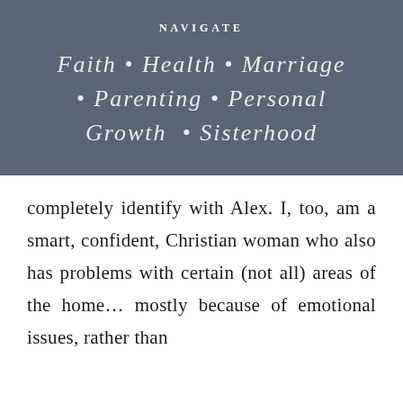NAVIGATE
Faith • Health • Marriage • Parenting • Personal Growth • Sisterhood
completely identify with Alex. I, too, am a smart, confident, Christian woman who also has problems with certain (not all) areas of the home… mostly because of emotional issues, rather than